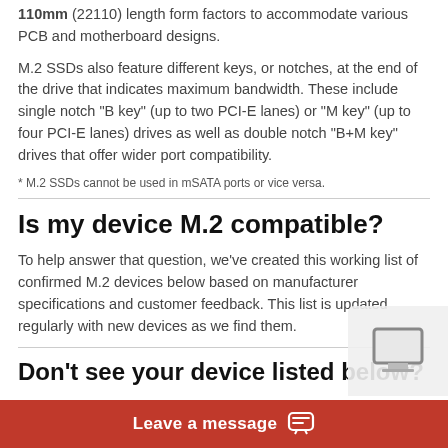110mm (22110) length form factors to accommodate various PCB and motherboard designs.
M.2 SSDs also feature different keys, or notches, at the end of the drive that indicates maximum bandwidth. These include single notch "B key" (up to two PCI-E lanes) or "M key" (up to four PCI-E lanes) drives as well as double notch "B+M key" drives that offer wider port compatibility.
* M.2 SSDs cannot be used in mSATA ports or vice versa.
Is my device M.2 compatible?
To help answer that question, we've created this working list of confirmed M.2 devices below based on manufacturer specifications and customer feedback. This list is updated regularly with new devices as we find them.
Don't see your device listed below?
It could still be M.2 compatible! Leave a comment below with the make/model of your device and we'll look it up.
Or check out our mSATA SSD Compatibility List to see if your device is listed on there.
Note: Submitted comments are held for approval. Please allow up to 2 business day for comment ap...